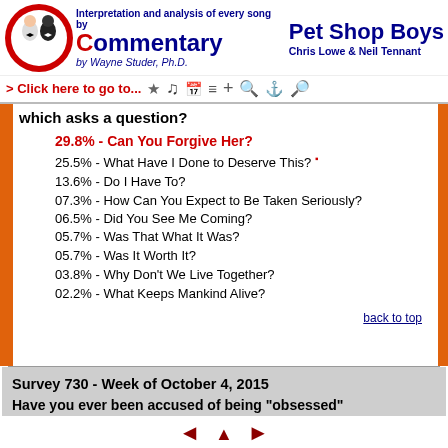Interpretation and analysis of every song by Commentary by Wayne Studer, Ph.D. Pet Shop Boys Chris Lowe & Neil Tennant
> Click here to go to...
which asks a question?
29.8% - Can You Forgive Her?
25.5% - What Have I Done to Deserve This?
13.6% - Do I Have To?
07.3% - How Can You Expect to Be Taken Seriously?
06.5% - Did You See Me Coming?
05.7% - Was That What It Was?
05.7% - Was It Worth It?
03.8% - Why Don't We Live Together?
02.2% - What Keeps Mankind Alive?
back to top
Survey 730 - Week of October 4, 2015
Have you ever been accused of being "obsessed" with PSB? (290 voters)